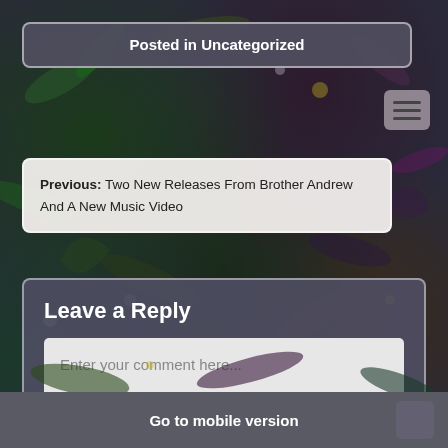Posted in Uncategorized
Previous:  Two New Releases From Brother Andrew And A New Music Video
Leave a Reply
Enter your comment here...
Powered by WordPress.com.
Go to mobile version